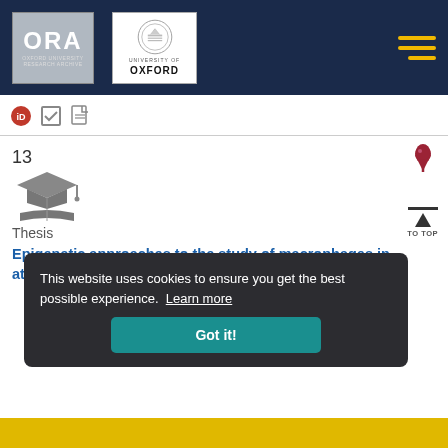[Figure (logo): ORA Oxford University Research Archive logo on dark navy header bar]
[Figure (logo): University of Oxford crest logo on dark navy header bar]
13
[Figure (illustration): Academic thesis icon: graduation cap and open book]
Thesis
Epigenetic approaches to the study of macrophages in atherosclerosis
This website uses cookies to ensure you get the best possible experience. Learn more
Got it!